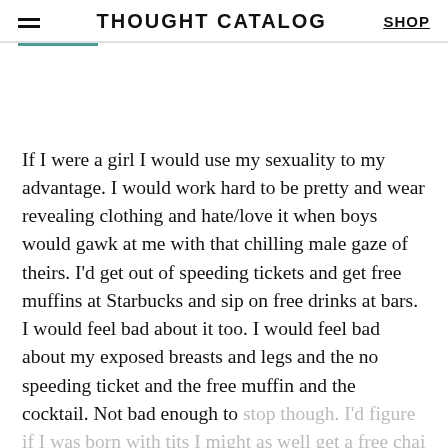THOUGHT CATALOG
If I were a girl I would use my sexuality to my advantage. I would work hard to be pretty and wear revealing clothing and hate/love it when boys would gawk at me with that chilling male gaze of theirs. I'd get out of speeding tickets and get free muffins at Starbucks and sip on free drinks at bars. I would feel bad about it too. I would feel bad about my exposed breasts and legs and the no speeding ticket and the free muffin and the cocktail. Not bad enough to stop though. I'd figure if I was born with tits I might as well get a free chai tea. [Psst! That shit ain't free if you